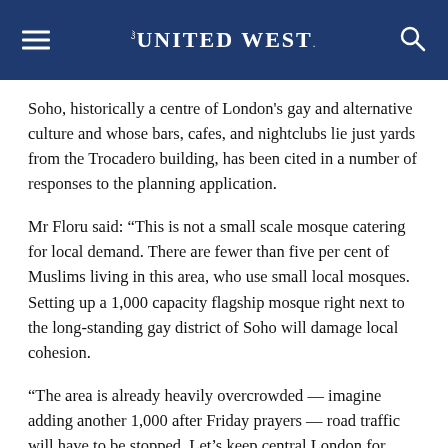THE UNITED WEST
Soho, historically a centre of London's gay and alternative culture and whose bars, cafes, and nightclubs lie just yards from the Trocadero building, has been cited in a number of responses to the planning application.
Mr Floru said: “This is not a small scale mosque catering for local demand. There are fewer than five per cent of Muslims living in this area, who use small local mosques. Setting up a 1,000 capacity flagship mosque right next to the long-standing gay district of Soho will damage local cohesion.
“The area is already heavily overcrowded — imagine adding another 1,000 after Friday prayers — road traffic will have to be stopped. Let’s keep central London for entertainment use, and place new large places of worship where there is local